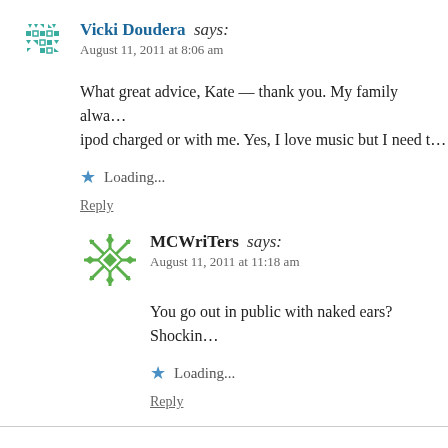Vicki Doudera says: August 11, 2011 at 8:06 am
What great advice, Kate — thank you. My family alwa... ipod charged or with me. Yes, I love music but I need t...
Loading...
Reply
MCWriTers says: August 11, 2011 at 11:18 am
You go out in public with naked ears? Shockin...
Loading...
Reply